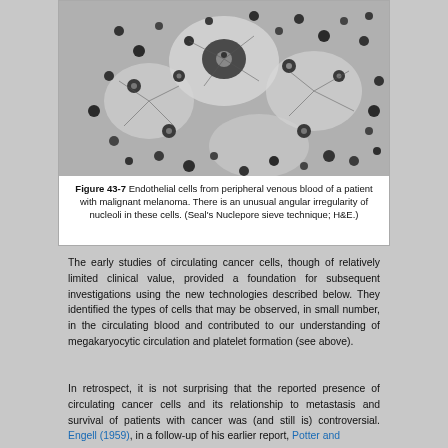[Figure (photo): Microscopy image (black and white) showing endothelial cells from peripheral venous blood of a patient with malignant melanoma. Cells of various sizes are visible against a light background, with dark round nuclei and angular irregular nucleoli.]
Figure 43-7 Endothelial cells from peripheral venous blood of a patient with malignant melanoma. There is an unusual angular irregularity of nucleoli in these cells. (Seal's Nuclepore sieve technique; H&E.)
The early studies of circulating cancer cells, though of relatively limited clinical value, provided a foundation for subsequent investigations using the new technologies described below. They identified the types of cells that may be observed, in small number, in the circulating blood and contributed to our understanding of megakaryocytic circulation and platelet formation (see above).
In retrospect, it is not surprising that the reported presence of circulating cancer cells and its relationship to metastasis and survival of patients with cancer was (and still is) controversial. Engell (1959), in a follow-up of his earlier report, Potter and